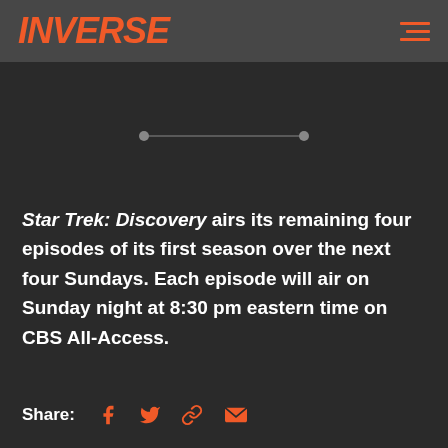INVERSE
[Figure (other): Horizontal slider/range control with two endpoints and a track, centered on the page]
Star Trek: Discovery airs its remaining four episodes of its first season over the next four Sundays. Each episode will air on Sunday night at 8:30 pm eastern time on CBS All-Access.
Share: